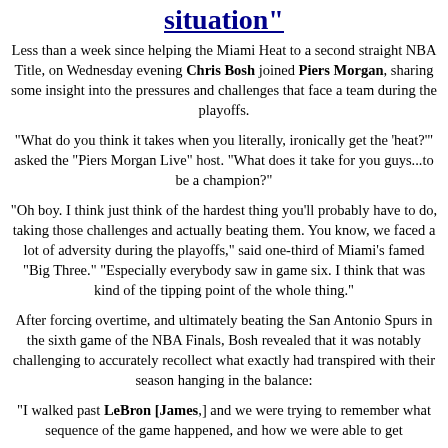situation"
Less than a week since helping the Miami Heat to a second straight NBA Title, on Wednesday evening Chris Bosh joined Piers Morgan, sharing some insight into the pressures and challenges that face a team during the playoffs.
"What do you think it takes when you literally, ironically get the 'heat?'" asked the "Piers Morgan Live" host. "What does it take for you guys...to be a champion?"
"Oh boy. I think just think of the hardest thing you'll probably have to do, taking those challenges and actually beating them. You know, we faced a lot of adversity during the playoffs," said one-third of Miami's famed "Big Three." "Especially everybody saw in game six. I think that was kind of the tipping point of the whole thing."
After forcing overtime, and ultimately beating the San Antonio Spurs in the sixth game of the NBA Finals, Bosh revealed that it was notably challenging to accurately recollect what exactly had transpired with their season hanging in the balance:
"I walked past LeBron [James,] and we were trying to remember what sequence of the game happened, and how we were able to get